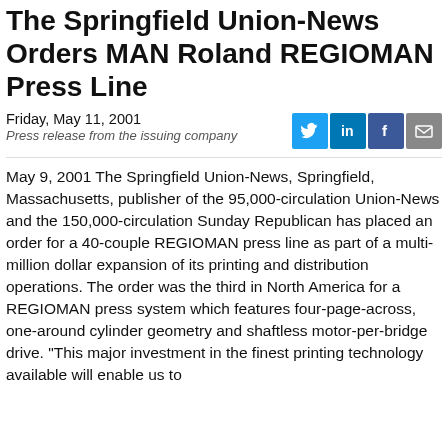The Springfield Union-News Orders MAN Roland REGIOMAN Press Line
Friday, May 11, 2001
Press release from the issuing company
May 9, 2001 The Springfield Union-News, Springfield, Massachusetts, publisher of the 95,000-circulation Union-News and the 150,000-circulation Sunday Republican has placed an order for a 40-couple REGIOMAN press line as part of a multi-million dollar expansion of its printing and distribution operations. The order was the third in North America for a REGIOMAN press system which features four-page-across, one-around cylinder geometry and shaftless motor-per-bridge drive. "This major investment in the finest printing technology available will enable us to